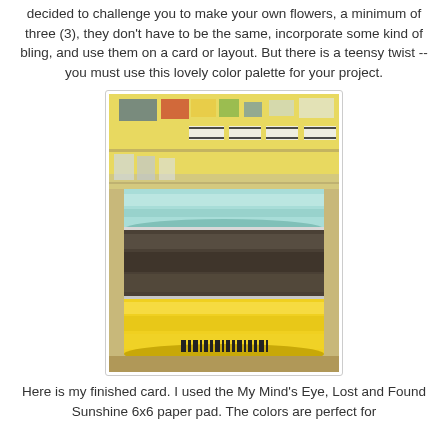decided to challenge you to make your own flowers, a minimum of three (3), they don't have to be the same, incorporate some kind of bling, and use them on a card or layout. But there is a teensy twist -- you must use this lovely color palette for your project.
[Figure (photo): Three rolls of satin ribbon stacked on top of each other: mint/light teal on top, dark brown/charcoal in the middle, and bright yellow on the bottom. Craft supplies visible in the blurred background.]
Here is my finished card. I used the My Mind's Eye, Lost and Found Sunshine 6x6 paper pad. The colors are perfect for